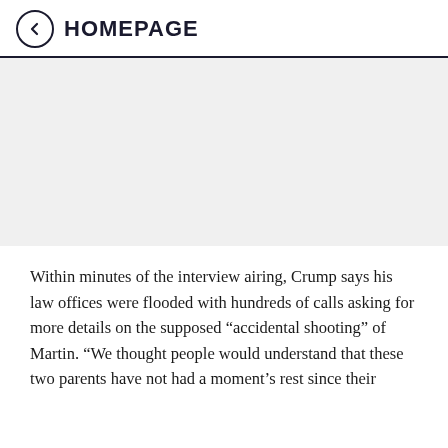HOMEPAGE
[Figure (photo): Gray placeholder image area]
Within minutes of the interview airing, Crump says his law offices were flooded with hundreds of calls asking for more details on the supposed “accidental shooting” of Martin. “We thought people would understand that these two parents have not had a moment’s rest since their